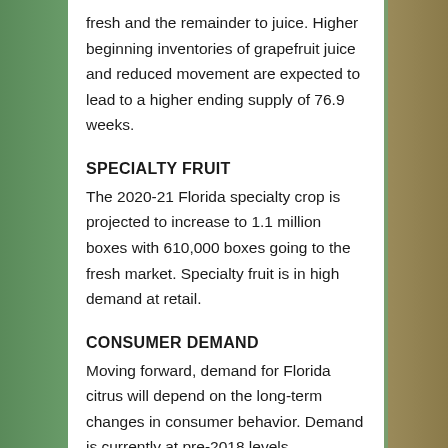fresh and the remainder to juice. Higher beginning inventories of grapefruit juice and reduced movement are expected to lead to a higher ending supply of 76.9 weeks.
SPECIALTY FRUIT
The 2020-21 Florida specialty crop is projected to increase to 1.1 million boxes with 610,000 boxes going to the fresh market. Specialty fruit is in high demand at retail.
CONSUMER DEMAND
Moving forward, demand for Florida citrus will depend on the long-term changes in consumer behavior. Demand is currently at pre-2018 levels. Consumer awareness is key to long-term demand as the decline in production will lead to increased